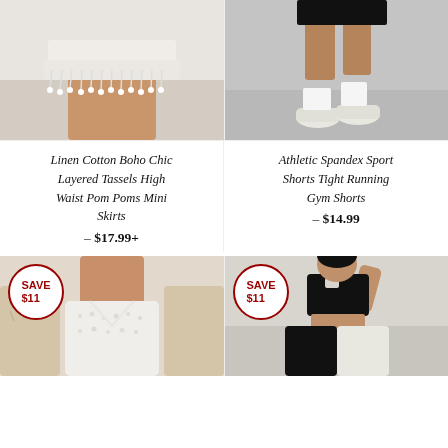[Figure (photo): Close-up of a white linen boho mini skirt with layered tassels and pom poms, worn by a person]
[Figure (photo): Person wearing black athletic spandex shorts with white sneakers, standing on a pavement]
Linen Cotton Boho Chic Layered Tassels High Waist Pom Poms Mini Skirts
– $17.99+
Athletic Spandex Sport Shorts Tight Running Gym Shorts
– $14.99
[Figure (photo): White fluffy/boucle crop top worn by person with beige cardigan, SAVE $11 badge overlay]
[Figure (photo): Person wearing black crop top and black/white wide-leg pants, SAVE $11 badge overlay]